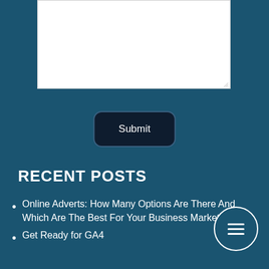[Figure (screenshot): White textarea input box with resize handle in bottom-right corner, on a dark teal background]
Submit
RECENT POSTS
Online Adverts: How Many Options Are There And Which Are The Best For Your Business Marketing?
Get Ready for GA4
[Figure (other): Circular menu button with three horizontal lines (hamburger icon), white border on teal background]